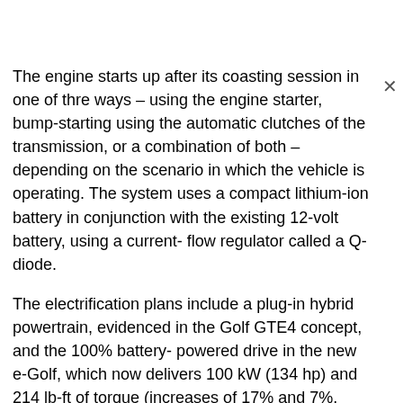The engine starts up after its coasting session in one of three ways – using the engine starter, bump-starting using the automatic clutches of the transmission, or a combination of both – depending on the scenario in which the vehicle is operating. The system uses a compact lithium-ion battery in conjunction with the existing 12-volt battery, using a current-flow regulator called a Q-diode.
The electrification plans include a plug-in hybrid powertrain, evidenced in the Golf GTE4 concept, and the 100% battery-powered drive in the new e-Golf, which now delivers 100 kW (134 hp) and 214 lb-ft of torque (increases of 17% and 7%, respectively). Range is also improved by an additional 110 km to 300 km, with the capacity increase of its lithium battery to 35.8 kWh (an increase of nearly 50% from the previous battery's 24.2 kWh).
The next step is the all-electric architecture, which will be debuting in 2020.